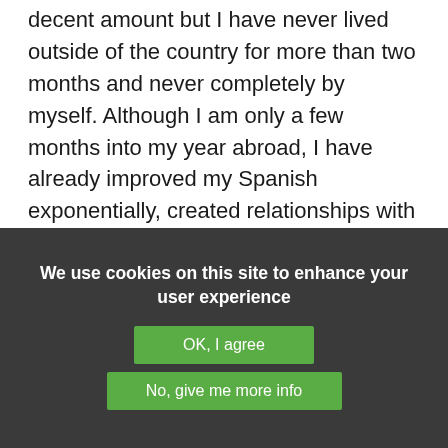decent amount but I have never lived outside of the country for more than two months and never completely by myself. Although I am only a few months into my year abroad, I have already improved my Spanish exponentially, created relationships with some amazing
We use cookies on this site to enhance your user experience
OK, I agree
No, give me more info